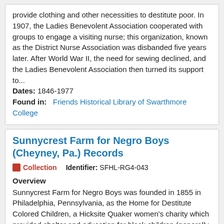provide clothing and other necessities to destitute poor. In 1907, the Ladies Benevolent Association cooperated with groups to engage a visiting nurse; this organization, known as the District Nurse Association was disbanded five years later. After World War II, the need for sewing declined, and the Ladies Benevolent Association then turned its support to...
Dates: 1846-1977
Found in: Friends Historical Library of Swarthmore College
Sunnycrest Farm for Negro Boys (Cheyney, Pa.) Records
Collection   Identifier: SFHL-RG4-043
Overview
Sunnycrest Farm for Negro Boys was founded in 1855 in Philadelphia, Pennsylvania, as the Home for Destitute Colored Children, a Hicksite Quaker women's charity which provided shelter and education for black children (generally boys) and then placed...